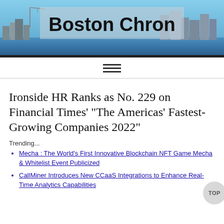[Figure (photo): Boston Chron newspaper website header with Boston city skyline photo and 'Boston Chron' title text overlaid on a frosted glass rectangle]
Ironside HR Ranks as No. 229 on Financial Times' "The Americas' Fastest-Growing Companies 2022"
Trending...
Mecha : The World's First Innovative Blockchain NFT Game Mecha & Whitelist Event Publicized
CallMiner Introduces New CCaaS Integrations to Enhance Real-Time Analytics Capabilities